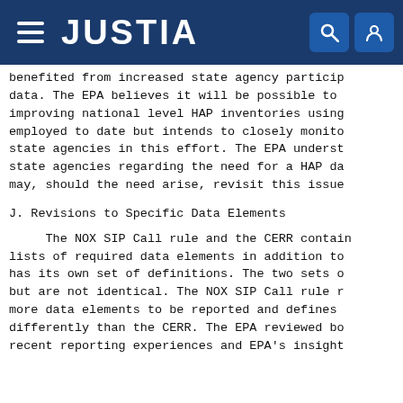JUSTIA
benefited from increased state agency partic data. The EPA believes it will be possible to improving national level HAP inventories using employed to date but intends to closely monito state agencies in this effort. The EPA underst state agencies regarding the need for a HAP da may, should the need arise, revisit this issue
J. Revisions to Specific Data Elements
The NOX SIP Call rule and the CERR contain lists of required data elements in addition to has its own set of definitions. The two sets o but are not identical. The NOX SIP Call rule r more data elements to be reported and defines differently than the CERR. The EPA reviewed bo recent reporting experiences and EPA's insight